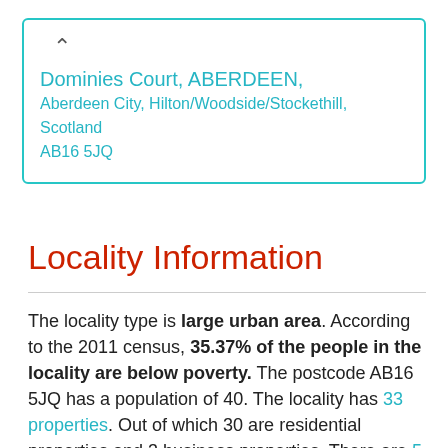Dominies Court, ABERDEEN,
Aberdeen City, Hilton/Woodside/Stockethill, Scotland
AB16 5JQ
Locality Information
The locality type is large urban area. According to the 2011 census, 35.37% of the people in the locality are below poverty. The postcode AB16 5JQ has a population of 40. The locality has 33 properties. Out of which 30 are residential properties and 3 business properties. There are 5 ...